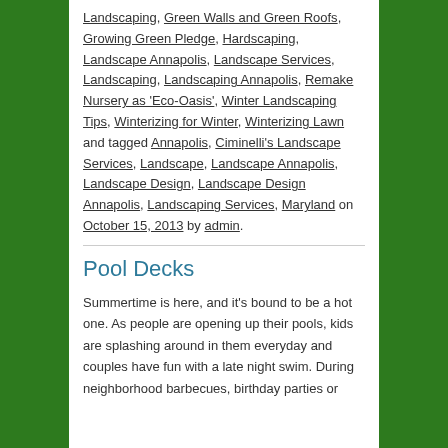Landscaping, Green Walls and Green Roofs, Growing Green Pledge, Hardscaping, Landscape Annapolis, Landscape Services, Landscaping, Landscaping Annapolis, Remake Nursery as 'Eco-Oasis', Winter Landscaping Tips, Winterizing for Winter, Winterizing Lawn and tagged Annapolis, Ciminelli's Landscape Services, Landscape, Landscape Annapolis, Landscape Design, Landscape Design Annapolis, Landscaping Services, Maryland on October 15, 2013 by admin.
Pool Decks
Summertime is here, and it's bound to be a hot one. As people are opening up their pools, kids are splashing around in them everyday and couples have fun with a late night swim. During neighborhood barbecues, birthday parties or